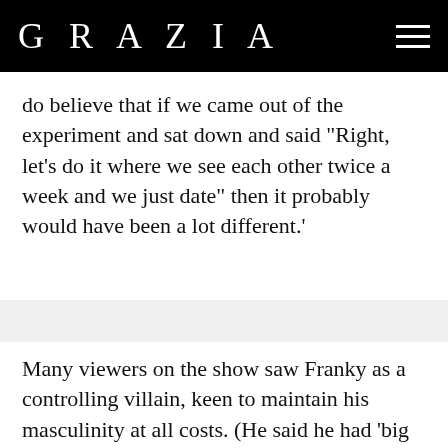GRAZIA
do believe that if we came out of the experiment and sat down and said "Right, let's do it where we see each other twice a week and we just date" then it probably would have been a lot different.'
Many viewers on the show saw Franky as a controlling villain, keen to maintain his masculinity at all costs. (He said he had 'big balls' and called himself an 'alpha male'.) But Marilyse says it was an unfair portrayal. 'I was represented fairly,' Marilyse says, '[but with Franky] they focused on all the negative things, and it was